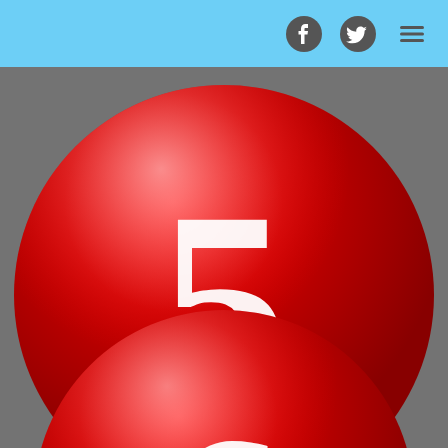[Figure (illustration): Red glossy ball with white number 5 on dark grey background with white oval shadow underneath]
The Three Wise Men
(A new star appears in the sky)
[Figure (illustration): Red glossy ball with white number 6, partially visible at bottom of page]